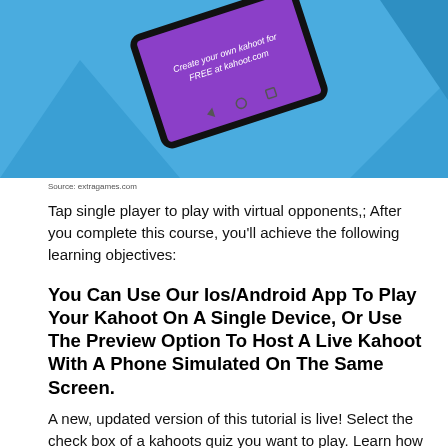[Figure (photo): Screenshot of a Kahoot app on a mobile phone/tablet showing a purple screen with text 'Create your own kahoot for FREE at kahoot.com', displayed at an angle on a blue geometric background.]
Source: extragames.com
Tap single player to play with virtual opponents,; After you complete this course, you'll achieve the following learning objectives:
You Can Use Our Ios/Android App To Play Your Kahoot On A Single Device, Or Use The Preview Option To Host A Live Kahoot With A Phone Simulated On The Same Screen.
A new, updated version of this tutorial is live! Select the check box of a kahoots quiz you want to play. Learn how our apps and games can make learning from home fun and engaging.